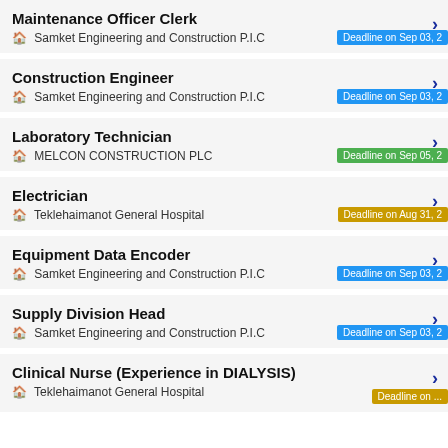Maintenance Officer Clerk — Samket Engineering and Construction P.I.C — Deadline on Sep 03, 2
Construction Engineer — Samket Engineering and Construction P.I.C — Deadline on Sep 03, 2
Laboratory Technician — MELCON CONSTRUCTION PLC — Deadline on Sep 05, 2
Electrician — Teklehaimanot General Hospital — Deadline on Aug 31, 2
Equipment Data Encoder — Samket Engineering and Construction P.I.C — Deadline on Sep 03, 2
Supply Division Head — Samket Engineering and Construction P.I.C — Deadline on Sep 03, 2
Clinical Nurse (Experience in DIALYSIS) — Teklehaimanot General Hospital — Deadline on ...